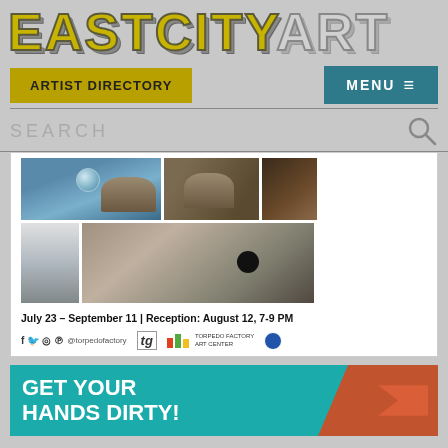[Figure (logo): EastCityArt logo in large bold stylized text, EASTCITY in yellow/gold with dark outline and shadow, ART in light gray with outline]
[Figure (screenshot): Navigation bar with 'ARTIST DIRECTORY' in yellow/olive button on left and 'MENU ≡' in teal button on right]
[Figure (screenshot): Search bar with SEARCH placeholder text and magnifying glass icon]
[Figure (photo): Grid of four photographs showing spherical bubble against sky, tree/rock formation, dark textured object, cloudy sky, and rocky ground with circular black dot]
July 23 – September 11 | Reception: August 12, 7-9 PM
[Figure (logo): Social media icons f, Twitter, Instagram, Pinterest with @torpedofactory, tg badge, Torpedo Factory Art Center logo with colored bars, and circular city seal]
[Figure (screenshot): Teal banner at bottom with text GET YOUR HANDS DIRTY! and orange arrow shape]